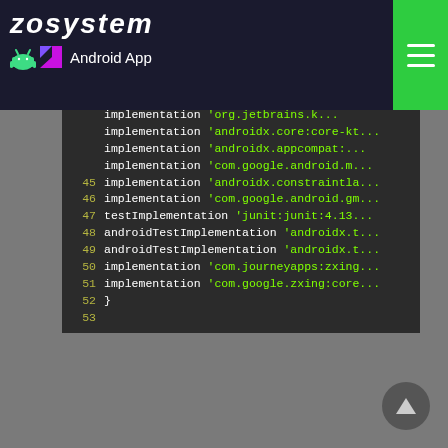zosystem - Android App
[Figure (screenshot): Code editor screenshot showing Gradle build.gradle dependencies block, lines 45-53, with implementation and testImplementation statements for androidx, com.google, junit, and com.journeyapps/com.google.zxing libraries. Dark theme code editor with yellow-green line numbers and green string literals.]